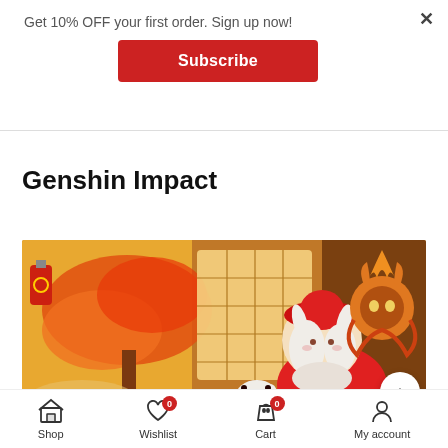Get 10% OFF your first order. Sign up now!
Subscribe
Genshin Impact
[Figure (illustration): Genshin Impact anime-style illustration showing a character with white hair and horns wearing a red hat, surrounded by autumn-themed decorations, lanterns, paper screen windows with warm golden light, and a decorative mask on the right side.]
Shop  Wishlist 0  Cart 0  My account